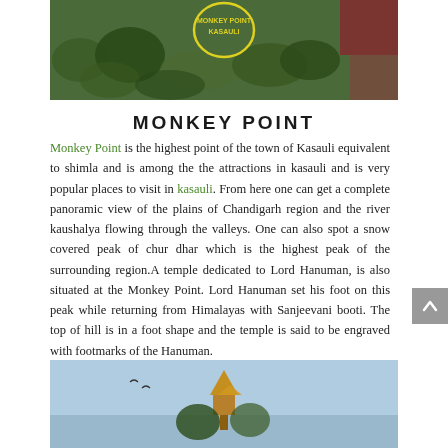[Figure (photo): Aerial view of forested hillside in Kasauli with a yellow circled sign reading 'Monkey Point Kasauli' visible on the hillside]
MONKEY POINT
Monkey Point is the highest point of the town of Kasauli equivalent to shimla and is among the the attractions in kasauli and is very popular places to visit in kasauli. From here one can get a complete panoramic view of the plains of Chandigarh region and the river kaushalya flowing through the valleys. One can also spot a snow covered peak of chur dhar which is the highest peak of the surrounding region.A temple dedicated to Lord Hanuman, is also situated at the Monkey Point. Lord Hanuman set his foot on this peak while returning from Himalayas with Sanjeevani booti. The top of hill is in a foot shape and the temple is said to be engraved with footmarks of the Hanuman.
[Figure (photo): Photo of a temple with golden/orange spire against a clear blue sky with birds flying]